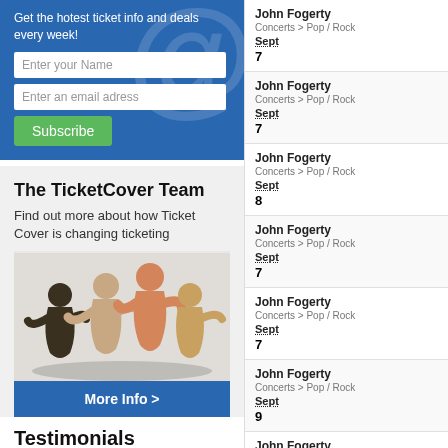Get the hotest ticket info and deals every week!
Enter your Name
Enter an email adress
Subscribe
The TicketCover Team
Find out more about how Ticket Cover is changing ticketing
[Figure (illustration): Paper cut-out people figures holding hands in a circle]
More Info >
Testimonials
i Just want to thank this
John Fogerty
Concerts > Pop / Rock
Sept
7
John Fogerty
Concerts > Pop / Rock
Sept
7
John Fogerty
Concerts > Pop / Rock
Sept
8
John Fogerty
Concerts > Pop / Rock
Sept
7
John Fogerty
Concerts > Pop / Rock
Sept
7
John Fogerty
Concerts > Pop / Rock
Sept
9
John Fogerty
Concerts > Pop / Rock
Sept
7
John Fogerty
Concerts > Pop / Rock
Nov
8
John Fogerty
Concerts > Pop / Rock
Nov